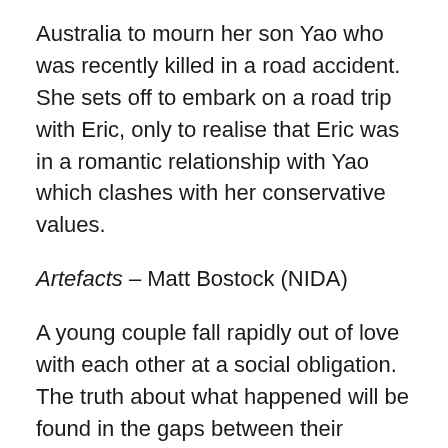Australia to mourn her son Yao who was recently killed in a road accident. She sets off to embark on a road trip with Eric, only to realise that Eric was in a romantic relationship with Yao which clashes with her conservative values.
Artefacts – Matt Bostock (NIDA)
A young couple fall rapidly out of love with each other at a social obligation. The truth about what happened will be found in the gaps between their stories.
The Adventures of Nevi-Drew – Madeleine